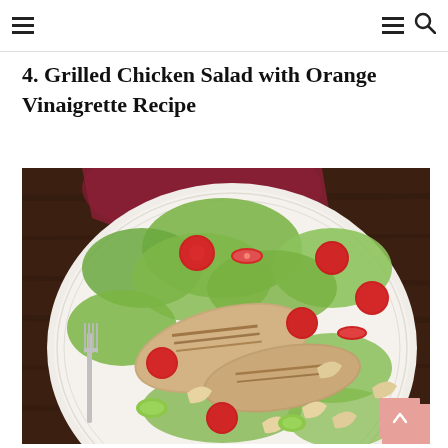Navigation header with hamburger menus and search icon
4. Grilled Chicken Salad with Orange Vinaigrette Recipe
[Figure (photo): Top-down photo of a white plate with grilled chicken salad, cherry tomatoes, butter lettuce, cucumber, cashews, and a fork, on a dark wooden background with a maroon cloth napkin.]